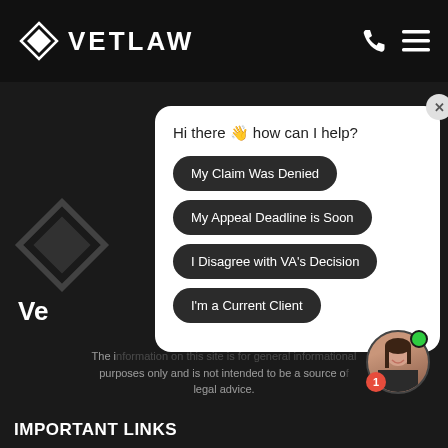[Figure (screenshot): VetLaw website header with diamond logo and navigation icons on dark background]
[Figure (screenshot): Chat popup widget with greeting 'Hi there 👋 how can I help?' and four dark pill-shaped buttons: My Claim Was Denied, My Appeal Deadline is Soon, I Disagree with VA's Decision, I'm a Current Client]
The information on this site is for general informational purposes only and is not intended to be a source of legal advice.
IMPORTANT LINKS